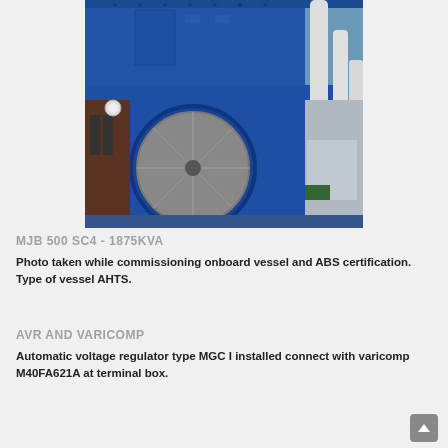[Figure (photo): Photo of a large blue industrial marine generator (MJB 500 SC4 - 1875KVA) taken onboard a vessel during commissioning. A large circular fan/rotor is visible on the left, surrounded by blue painted metalwork and white pipes.]
MJB 500 SC4 - 1875KVA
Photo taken while commissioning onboard vessel and ABS certification. Type of vessel AHTS.
AVR AND VARICOMP
Automatic voltage regulator type MGC I installed connect with varicomp M40FA621A at terminal box.